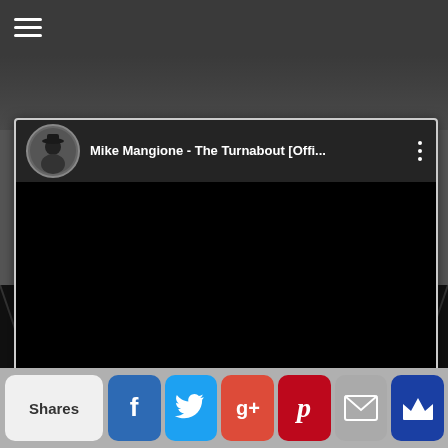Navigation menu (hamburger icon)
[Figure (screenshot): YouTube-style embedded video card showing 'Mike Mangione - The Turnabout [Offi...' with circular avatar of a man in a hat, black video area, and three-dot menu icon]
[Figure (photo): Black and white photograph of a figure crouched in a tunnel corridor with dramatic lighting]
Shares
[Figure (infographic): Social share bar with buttons: Shares, Facebook (f), Twitter (bird), Google+ (g+), Pinterest (p), Email (envelope), Crown icon]